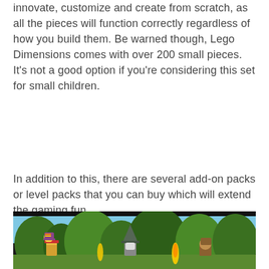innovate, customize and create from scratch, as all the pieces will function correctly regardless of how you build them. Be warned though, Lego Dimensions comes with over 200 small pieces. It's not a good option if you're considering this set for small children.
In addition to this, there are several add-on packs or level packs that you can buy which will extend the gaming fun.
[Figure (photo): Screenshot from Lego Dimensions video game showing three Lego minifigures standing together in a fantasy outdoor environment with trees and warm lighting. A figure with a striped hat is on the left, a wizard with a wide-brimmed hat is in the center, and another figure is on the right.]